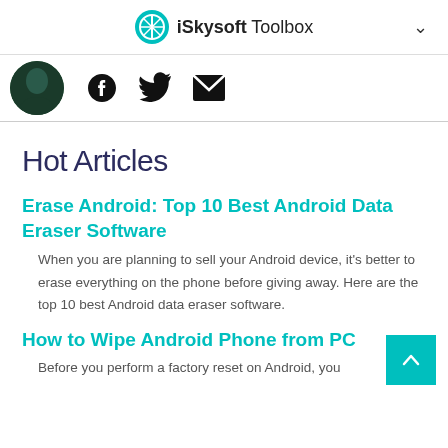iSkysoft Toolbox
[Figure (photo): Circular avatar/profile photo partially visible on the left, with Facebook, Twitter, and email social media icons to the right]
Hot Articles
Erase Android: Top 10 Best Android Data Eraser Software
When you are planning to sell your Android device, it's better to erase everything on the phone before giving away. Here are the top 10 best Android data eraser software.
How to Wipe Android Phone from PC
Before you perform a factory reset on Android, you